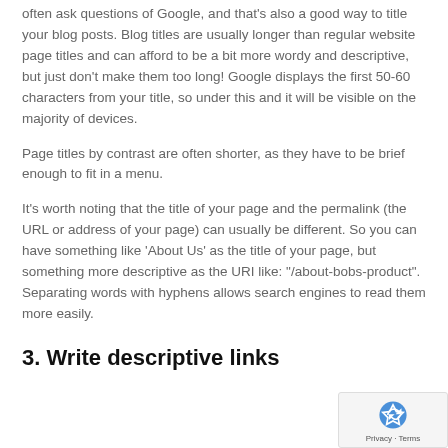often ask questions of Google, and that's also a good way to title your blog posts. Blog titles are usually longer than regular website page titles and can afford to be a bit more wordy and descriptive, but just don't make them too long! Google displays the first 50-60 characters from your title, so under this and it will be visible on the majority of devices.
Page titles by contrast are often shorter, as they have to be brief enough to fit in a menu.
It's worth noting that the title of your page and the permalink (the URL or address of your page) can usually be different. So you can have something like 'About Us' as the title of your page, but something more descriptive as the URI like: "/about-bobs-product". Separating words with hyphens allows search engines to read them more easily.
3. Write descriptive links